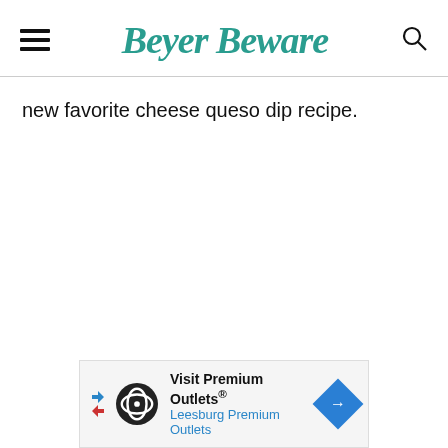Beyer Beware
new favorite cheese queso dip recipe.
[Figure (other): Advertisement banner: Visit Premium Outlets® Leesburg Premium Outlets]